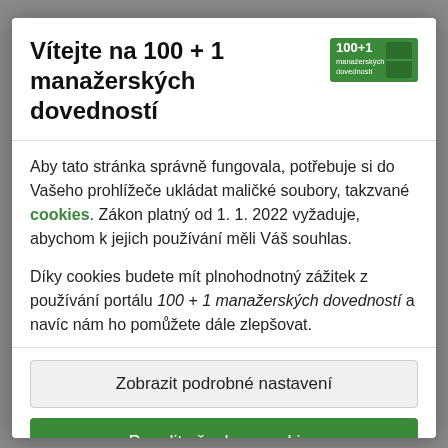Vítejte na 100 + 1 manažerských dovedností
[Figure (logo): Logo 100+1 manažerských dovedností — green badge with text]
Aby tato stránka správně fungovala, potřebuje si do Vašeho prohlížeče ukládat maličké soubory, takzvané cookies. Zákon platný od 1. 1. 2022 vyžaduje, abychom k jejich používání měli Váš souhlas.
Díky cookies budete mít plnohodnotný zážitek z používání portálu 100 + 1 manažerských dovedností a navíc nám ho pomůžete dále zlepšovat.
Zobrazit podrobné nastavení
Povolit všechny cookies